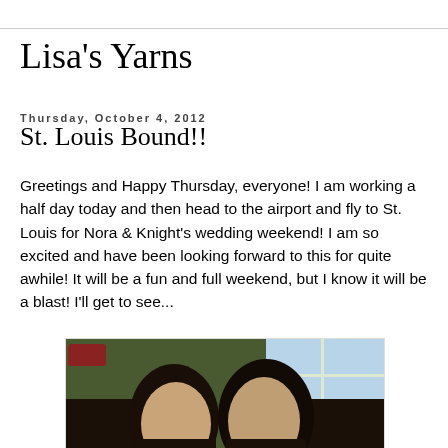Lisa's Yarns
Thursday, October 4, 2012
St. Louis Bound!!
Greetings and Happy Thursday, everyone!  I am working a half day today and then head to the airport and fly to St. Louis for Nora & Knight's wedding weekend!  I am so excited and have been looking forward to this for quite awhile!  It will be a fun and full weekend, but I know it will be a blast!  I'll get to see...
[Figure (photo): Two women with dark hair smiling, standing indoors near a window with greenery visible outside]